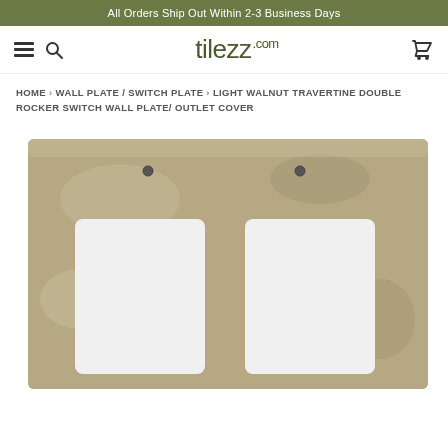All Orders Ship Out Within 2-3 Business Days
[Figure (screenshot): tilezz.com website header with hamburger menu, search icon, tilezz.com logo, and cart icon]
HOME › WALL PLATE / SWITCH PLATE › LIGHT WALNUT TRAVERTINE DOUBLE ROCKER SWITCH WALL PLATE/ OUTLET COVER
[Figure (photo): Light walnut travertine double rocker switch wall plate/outlet cover — a stone tile with two rectangular cutouts for rocker switches, two mounting screw holes at top]